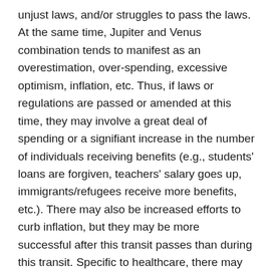unjust laws, and/or struggles to pass the laws. At the same time, Jupiter and Venus combination tends to manifest as an overestimation, over-spending, excessive optimism, inflation, etc. Thus, if laws or regulations are passed or amended at this time, they may involve a great deal of spending or a signifiant increase in the number of individuals receiving benefits (e.g., students' loans are forgiven, teachers' salary goes up, immigrants/refugees receive more benefits, etc.). There may also be increased efforts to curb inflation, but they may be more successful after this transit passes than during this transit. Specific to healthcare, there may be increased news about diabetes and conditions associated with excess sugar or fat, or liver-related issues (e.g., regulation of treatments, import/export of medication, or some international agreements).